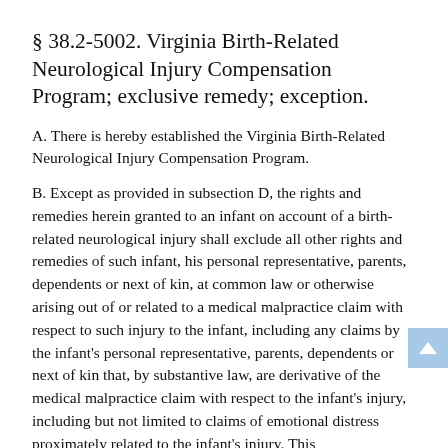§ 38.2-5002. Virginia Birth-Related Neurological Injury Compensation Program; exclusive remedy; exception.
A. There is hereby established the Virginia Birth-Related Neurological Injury Compensation Program.
B. Except as provided in subsection D, the rights and remedies herein granted to an infant on account of a birth-related neurological injury shall exclude all other rights and remedies of such infant, his personal representative, parents, dependents or next of kin, at common law or otherwise arising out of or related to a medical malpractice claim with respect to such injury to the infant, including any claims by the infant's personal representative, parents, dependents or next of kin that, by substantive law, are derivative of the medical malpractice claim with respect to the infant's injury, including but not limited to claims of emotional distress proximately related to the infant's injury. This